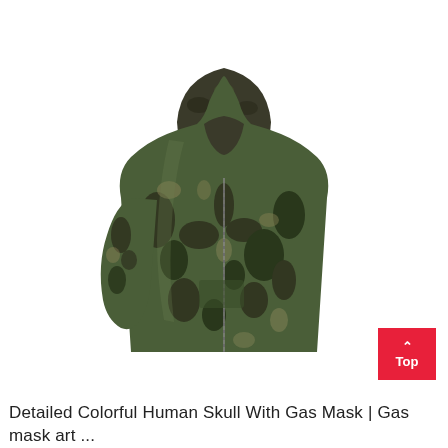[Figure (photo): A camouflage hooded jacket (tactical/military style) with dark olive and black camouflage pattern, zip-up front, hood up, displayed without a model on a white background.]
Detailed Colorful Human Skull With Gas Mask | Gas mask art ...